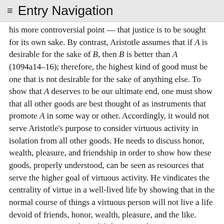≡ Entry Navigation
his more controversial point — that justice is to be sought for its own sake. By contrast, Aristotle assumes that if A is desirable for the sake of B, then B is better than A (1094a14–16); therefore, the highest kind of good must be one that is not desirable for the sake of anything else. To show that A deserves to be our ultimate end, one must show that all other goods are best thought of as instruments that promote A in some way or other. Accordingly, it would not serve Aristotle's purpose to consider virtuous activity in isolation from all other goods. He needs to discuss honor, wealth, pleasure, and friendship in order to show how these goods, properly understood, can be seen as resources that serve the higher goal of virtuous activity. He vindicates the centrality of virtue in a well-lived life by showing that in the normal course of things a virtuous person will not live a life devoid of friends, honor, wealth, pleasure, and the like. Virtuous activity makes a life happy not by guaranteeing happiness in all circumstances, but by serving as the goal for the sake of which lesser goods are to be pursued.